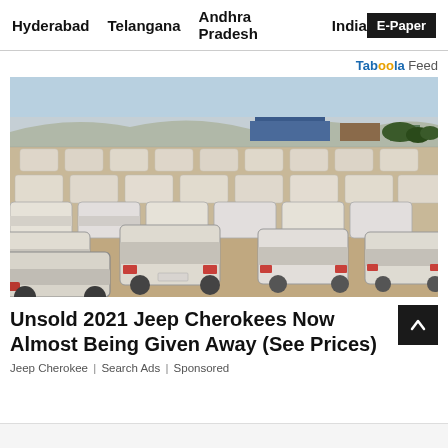Hyderabad  Telangana  Andhra Pradesh  India  E-Paper
Taboola Feed
[Figure (photo): Large outdoor lot filled with rows of white cars parked on dusty ground, viewed from rear angle, with industrial buildings and hills in the background under a clear sky.]
Unsold 2021 Jeep Cherokees Now Almost Being Given Away (See Prices)
Jeep Cherokee | Search Ads | Sponsored